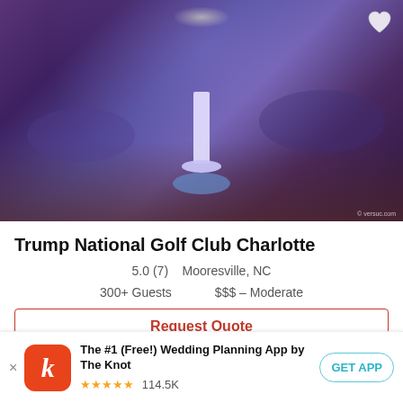[Figure (photo): Interior of a large wedding ballroom with purple/blue ambient lighting, crystal chandeliers, round tables with blue linens, and a tall tiered white wedding cake suspended or displayed in the center of the dance floor, surrounded by blue floral arrangements.]
Trump National Golf Club Charlotte
5.0 (7)  Mooresville, NC
300+ Guests  $$$ – Moderate
Request Quote
The #1 (Free!) Wedding Planning App by The Knot ★★★★★ 114.5K